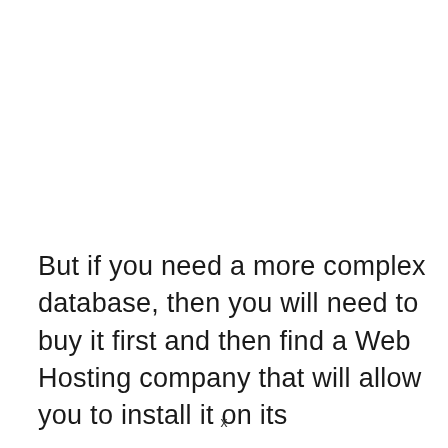But if you need a more complex database, then you will need to buy it first and then find a Web Hosting company that will allow you to install it on its
x